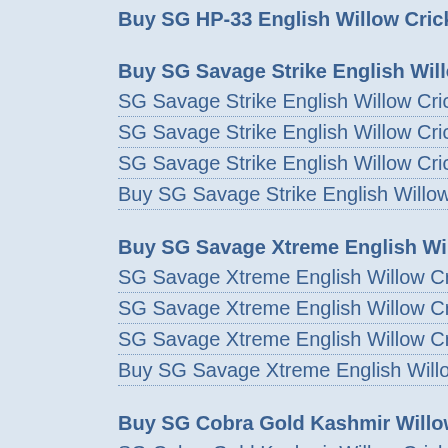Buy SG HP-33 English Willow Cricket
Buy SG Savage Strike English Willow
SG Savage Strike English Willow Cric
SG Savage Strike English Willow Cric
SG Savage Strike English Willow Cric
Buy SG Savage Strike English Willow
Buy SG Savage Xtreme English Willo
SG Savage Xtreme English Willow Cr
SG Savage Xtreme English Willow Cr
SG Savage Xtreme English Willow Cr
Buy SG Savage Xtreme English Willo
Buy SG Cobra Gold Kashmir Willow C
SG Cobra Gold Kashmir Willow Cricke
SG Cobra Gold Kashmir Willow Cricke
SG Cobra Gold Kashmir Willow Cricke
Buy SG Cobra Gold Kashmir Willow C
Buy SG Verto Kashmir Willow Cricket
SG Verto Kashmir Willow Cricket Bat
SG Verto Kashmir Willow Cricket Bat
SG Verto Kashmir Willow Cricket Bat
Buy SG Verto Kashmir Willow Cricket